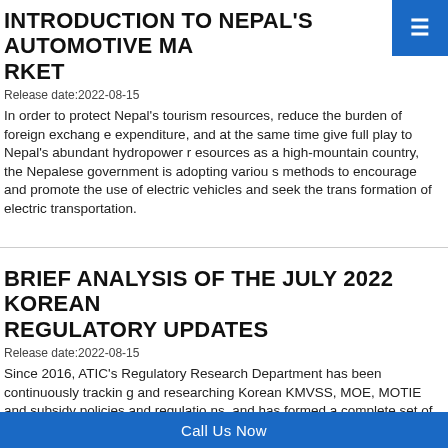INTRODUCTION TO NEPAL'S AUTOMOTIVE MARKET
Release date:2022-08-15
In order to protect Nepal's tourism resources, reduce the burden of foreign exchange expenditure, and at the same time give full play to Nepal's abundant hydropower resources as a high-mountain country, the Nepalese government is adopting various methods to encourage and promote the use of electric vehicles and seek the transformation of electric transportation.
BRIEF ANALYSIS OF THE JULY 2022 KOREAN REGULATORY UPDATES
Release date:2022-08-15
Since 2016, ATIC's Regulatory Research Department has been continuously tracking and researching Korean KMVSS, MOE, MOTIE and subsidy policies and regulations, and has formed a complete set of regulatory tracking solutions. We are able to provide one-stop services such as regulatory lists, regulatory translations, regulator
Call Us Now